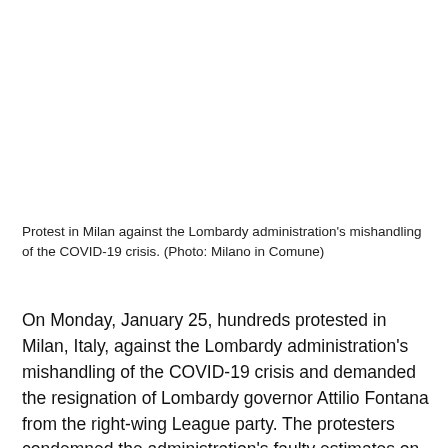[Figure (photo): Protest in Milan against the Lombardy administration's mishandling of the COVID-19 crisis (image area, white/blank in this crop)]
Protest in Milan against the Lombardy administration's mishandling of the COVID-19 crisis. (Photo: Milano in Comune)
On Monday, January 25, hundreds protested in Milan, Italy, against the Lombardy administration's mishandling of the COVID-19 crisis and demanded the resignation of Lombardy governor Attilio Fontana from the right-wing League party. The protesters condemned the administration's faulty estimates on COVID-19 infections in the region which had led the Italian government to implement harsher lockdown restrictions, resulting in huge revenue losses. Activists from the Communist